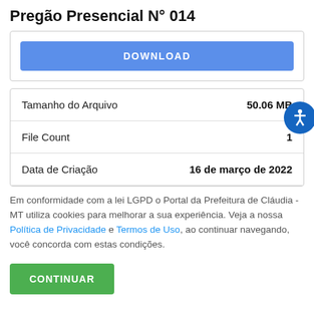Pregão Presencial N° 014
DOWNLOAD
| Field | Value |
| --- | --- |
| Tamanho do Arquivo | 50.06 MB |
| File Count | 1 |
| Data de Criação | 16 de março de 2022 |
Em conformidade com a lei LGPD o Portal da Prefeitura de Cláudia - MT utiliza cookies para melhorar a sua experiência. Veja a nossa Política de Privacidade e Termos de Uso, ao continuar navegando, você concorda com estas condições.
CONTINUAR